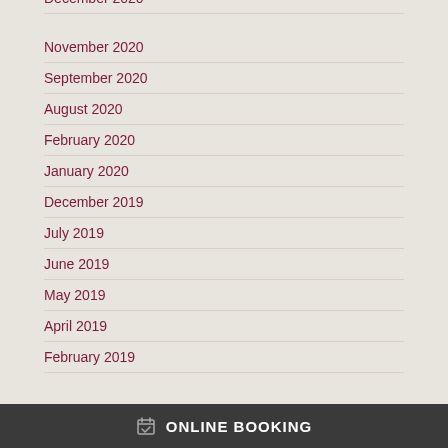December 2020
November 2020
September 2020
August 2020
February 2020
January 2020
December 2019
July 2019
June 2019
May 2019
April 2019
February 2019
ONLINE BOOKING